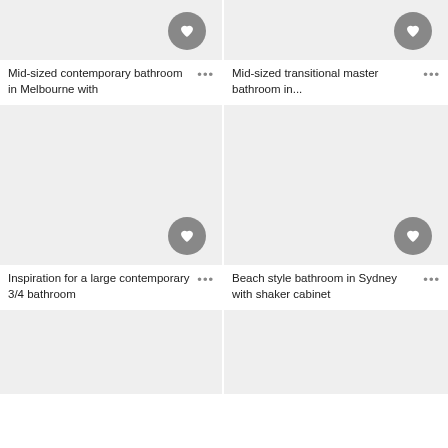[Figure (photo): Top-left bathroom image placeholder, cropped at top]
Mid-sized contemporary bathroom in Melbourne with
[Figure (photo): Top-right bathroom image placeholder, cropped at top]
Mid-sized transitional master bathroom in...
[Figure (photo): Middle-left bathroom image placeholder with heart button]
Inspiration for a large contemporary 3/4 bathroom
[Figure (photo): Middle-right bathroom image placeholder with heart button]
Beach style bathroom in Sydney with shaker cabinet
[Figure (photo): Bottom-left bathroom image placeholder, cropped at bottom]
[Figure (photo): Bottom-right bathroom image placeholder, cropped at bottom]